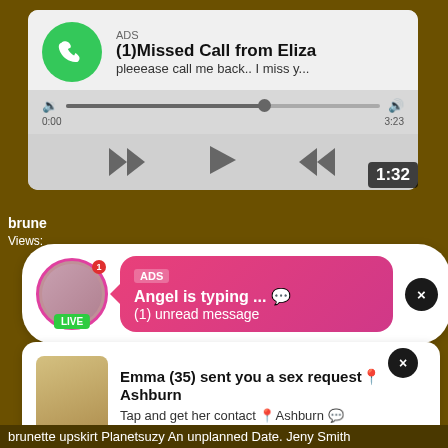[Figure (screenshot): Ad notification: (1) Missed Call from Eliza with audio player showing 0:00 to 3:23 and playback controls]
ADS
(1)Missed Call from Eliza
pleeease call me back.. I miss y...
0:00
3:23
1:32
brune
Views:
[Figure (screenshot): Ad notification bubble: ADS - Angel is typing ... with (1) unread message, avatar with LIVE badge]
ADS
Angel is typing ... 💬
(1) unread message
LIVE
[Figure (screenshot): Ad notification: Emma (35) sent you a sex request in Ashburn with photo of blonde woman]
Emma (35) sent you a sex request📍Ashburn
Tap and get her contact 📍Ashburn 💬
brunette upskirt Planetsuzy An unplanned Date. Jeny Smith